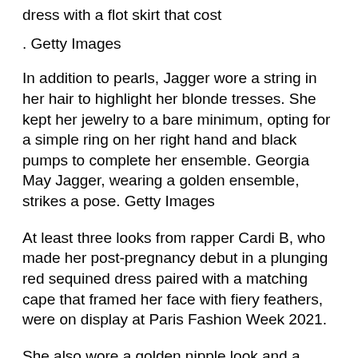dress with a flot skirt that cost
. Getty Images
In addition to pearls, Jagger wore a string in her hair to highlight her blonde tresses. She kept her jewelry to a bare minimum, opting for a simple ring on her right hand and black pumps to complete her ensemble. Georgia May Jagger, wearing a golden ensemble, strikes a pose. Getty Images
At least three looks from rapper Cardi B, who made her post-pregnancy debut in a plunging red sequined dress paired with a matching cape that framed her face with fiery feathers, were on display at Paris Fashion Week 2021.
She also wore a golden nipple look and a spiked and studded Richard Quinn trench coat.